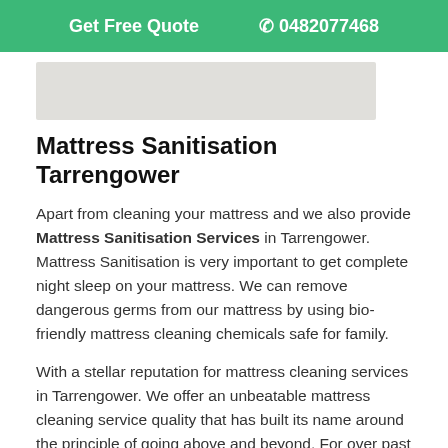Get Free Quote  📞 0482077468
[Figure (photo): A light-coloured mattress or bed surface, partially visible, shown in a rectangular image placeholder]
Mattress Sanitisation Tarrengower
Apart from cleaning your mattress and we also provide Mattress Sanitisation Services in Tarrengower. Mattress Sanitisation is very important to get complete night sleep on your mattress. We can remove dangerous germs from our mattress by using bio-friendly mattress cleaning chemicals safe for family.
With a stellar reputation for mattress cleaning services in Tarrengower. We offer an unbeatable mattress cleaning service quality that has built its name around the principle of going above and beyond. For over past 10 years, our customers have noted the feel of a freshly pressed mattress by one of our certified